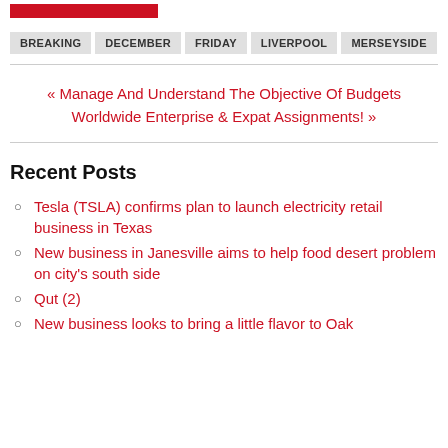[Figure (other): Red rectangular logo/banner image at top]
BREAKING
DECEMBER
FRIDAY
LIVERPOOL
MERSEYSIDE
« Manage And Understand The Objective Of Budgets Worldwide Enterprise & Expat Assignments! »
Recent Posts
Tesla (TSLA) confirms plan to launch electricity retail business in Texas
New business in Janesville aims to help food desert problem on city's south side
Qut (2)
New business looks to bring a little flavor to Oak